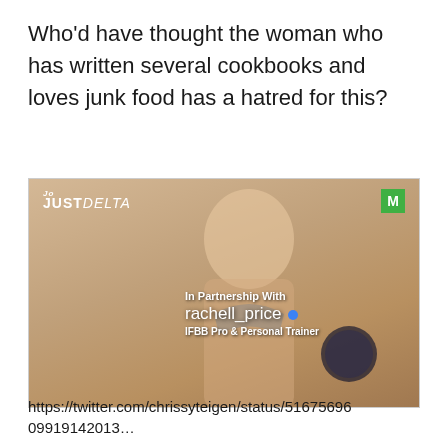Who'd have thought the woman who has written several cookbooks and loves junk food has a hatred for this?
[Figure (photo): Advertisement image for JustDelta, featuring a fit blonde woman in a leopard-print bikini holding a product container. Text overlay reads 'In Partnership With rachell_price IFBB Pro & Personal Trainer'. JustDelta logo top left, green M badge top right.]
https://twitter.com/chrissyteigen/status/51675696 09919112012...